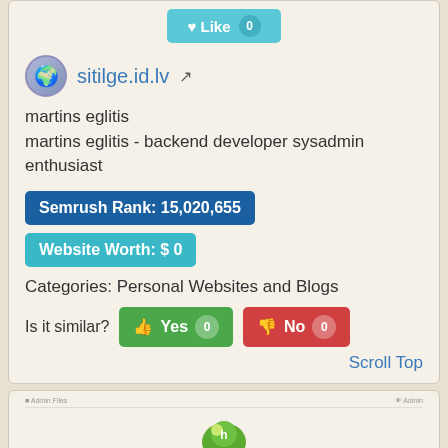[Figure (screenshot): Like button with count 0, teal colored]
sitilge.id.lv
martins eglitis
martins eglitis - backend developer sysadmin enthusiast
Semrush Rank: 15,020,655
Website Worth: $ 0
Categories: Personal Websites and Blogs
Is it similar?
Scroll Top
[Figure (screenshot): Cybrespace Gitea website screenshot showing logo and title 'Cybrespace Gitea' with subtitle 'A painless, self-hosted Git']